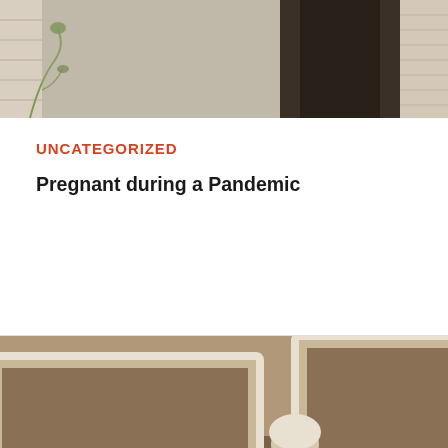[Figure (photo): Top portion of a photo showing a person near a wooden structure, partially cropped]
UNCATEGORIZED
Pregnant during a Pandemic
[Figure (photo): Three people (two children and an adult) bending over raised garden beds, planting or tending to green plants in outdoor garden boxes]